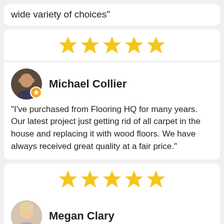wide variety of choices"
[Figure (other): 5 yellow stars rating]
Michael Collier
"I've purchased from Flooring HQ for many years. Our latest project just getting rid of all carpet in the house and replacing it with wood floors. We have always received great quality at a fair price."
[Figure (other): 5 yellow stars rating]
Megan Clary
"Looking to have your floors re-done? HQ is the place to go. There hours of operation are super convenient open Monday – Saturday. From Hardwood and Tile to carpet HQ